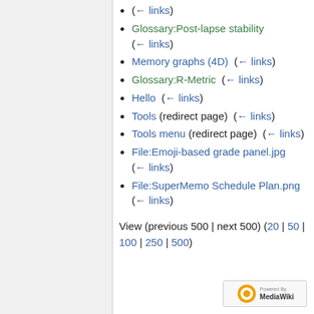(← links)
Glossary:Post-lapse stability  (← links)
Memory graphs (4D)  (← links)
Glossary:R-Metric  (← links)
Hello  (← links)
Tools (redirect page)  (← links)
Tools menu (redirect page)  (← links)
File:Emoji-based grade panel.jpg  (← links)
File:SuperMemo Schedule Plan.png  (← links)
View (previous 500 | next 500) (20 | 50 | 100 | 250 | 500)
Privacy policy   About SuperMemo Help   Disclaimers